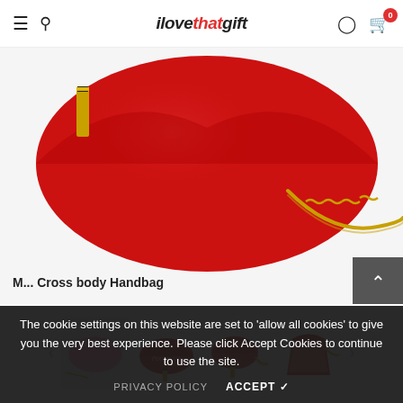ilovethatgift — navigation header with hamburger menu, search, logo, user icon, cart (0)
[Figure (photo): Red glittery lip-shaped crossbody handbag with gold chain strap, partially cropped, on white background]
[Figure (photo): Four product thumbnails of lip-shaped handbags: pink lips, red lips with text 'Pucker Up', red lips with chain, red lips open showing interior]
M... Cross body Handbag
The cookie settings on this website are set to 'allow all cookies' to give you the very best experience. Please click Accept Cookies to continue to use the site.
PRIVACY POLICY    ACCEPT ✓